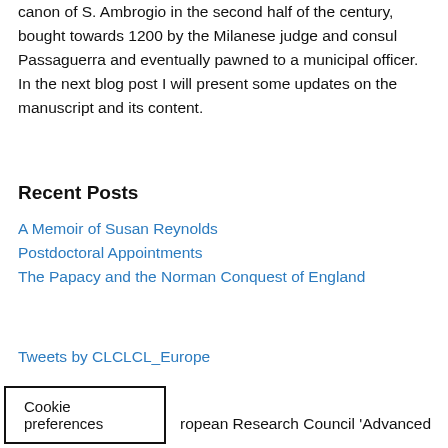canon of S. Ambrogio in the second half of the century, bought towards 1200 by the Milanese judge and consul Passaguerra and eventually pawned to a municipal officer. In the next blog post I will present some updates on the manuscript and its content.
Recent Posts
A Memoir of Susan Reynolds
Postdoctoral Appointments
The Papacy and the Norman Conquest of England
Tweets by CLCLCL_Europe
Cookie preferences
ropean Research Council 'Advanced